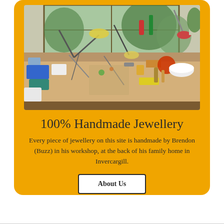[Figure (photo): A cluttered jewellery workshop bench filled with tools, materials, containers, and equipment, with a large window in the background showing greenery outside.]
100% Handmade Jewellery
Every piece of jewellery on this site is handmade by Brendon (Buzz) in his workshop, at the back of his family home in Invercargill.
About Us